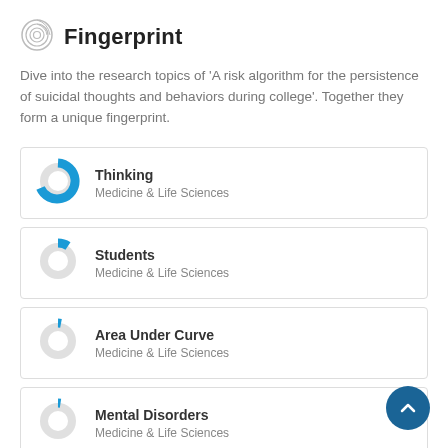Fingerprint
Dive into the research topics of 'A risk algorithm for the persistence of suicidal thoughts and behaviors during college'. Together they form a unique fingerprint.
Thinking — Medicine & Life Sciences
Students — Medicine & Life Sciences
Area Under Curve — Medicine & Life Sciences
Mental Disorders — Medicine & Life Sciences
Cohort Studies — Medicine & Life Sciences